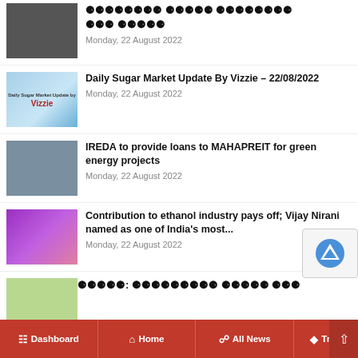[blocked title] Monday, 22 August 2022
Daily Sugar Market Update By Vizzie – 22/08/2022
Monday, 22 August 2022
IREDA to provide loans to MAHAPREIT for green energy projects
Monday, 22 August 2022
Contribution to ethanol industry pays off; Vijay Nirani named as one of India's most...
Monday, 22 August 2022
[blocked title partial]
Dashboard  Home  All News  Tren...